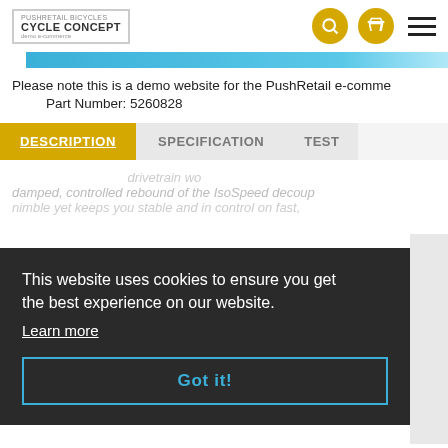Cycle Concept logo with search, cart, and menu icons
Please note this is a demo website for the PushRetail e-comme…
Part Number: 5260828
DESCRIPTION | SPECIFICATION | TEST
…drivetrain wo…
damped, controlled rebound of the IsoSpeed decoup…
nimble yet keeps you stable and in control on fast,
This website uses cookies to ensure you get the best experience on our website.
Learn more
Got it!